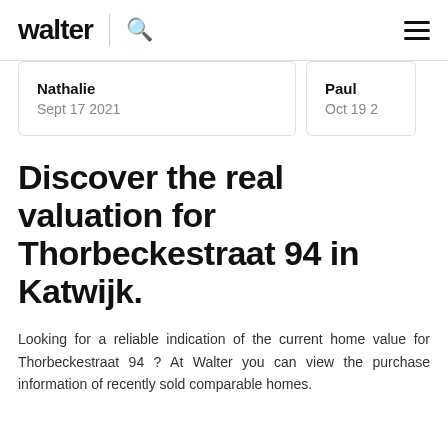walter
Nathalie
Sept 17 2021
Paul
Oct 19 2
Discover the real valuation for Thorbeckestraat 94 in Katwijk.
Looking for a reliable indication of the current home value for Thorbeckestraat 94 ? At Walter you can view the purchase information of recently sold comparable homes.